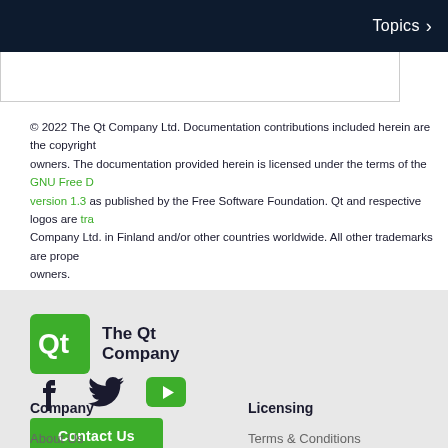Topics >
|  |
© 2022 The Qt Company Ltd. Documentation contributions included herein are the copyrights of their respective owners. The documentation provided herein is licensed under the terms of the GNU Free Documentation License version 1.3 as published by the Free Software Foundation. Qt and respective logos are trademarks of The Qt Company Ltd. in Finland and/or other countries worldwide. All other trademarks are properties of their respective owners.
[Figure (logo): The Qt Company logo: green rounded square with Qt text in white, followed by 'The Qt Company' in dark text]
[Figure (infographic): Social media icons: Facebook, Twitter, YouTube (green)]
Contact Us
Company
Licensing
About Us
Terms & Conditions